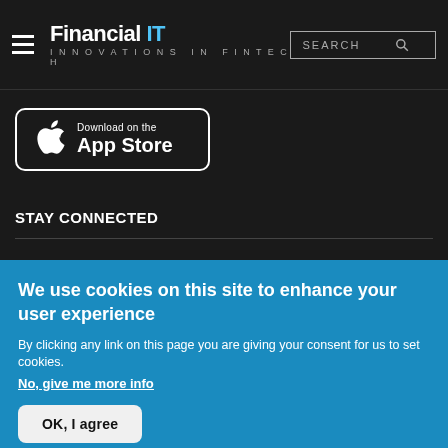Financial IT — Innovations in FinTech
[Figure (logo): App Store download button with Apple logo]
STAY CONNECTED
[Figure (infographic): Social media icons: Facebook, Twitter, LinkedIn, YouTube]
We use cookies on this site to enhance your user experience
By clicking any link on this page you are giving your consent for us to set cookies. No, give me more info
OK, I agree